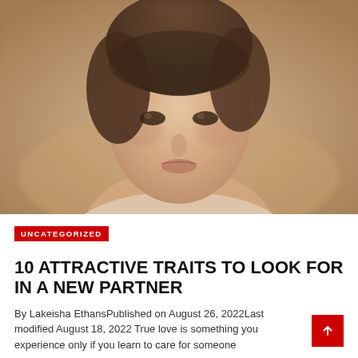[Figure (photo): Close-up portrait of a young woman with brown hair, soft blurred background, painterly style reminiscent of classical portraiture.]
UNCATEGORIZED
10 ATTRACTIVE TRAITS TO LOOK FOR IN A NEW PARTNER
By Lakeisha EthansPublished on August 26, 2022Last modified August 18, 2022 True love is something you experience only if you learn to care for someone